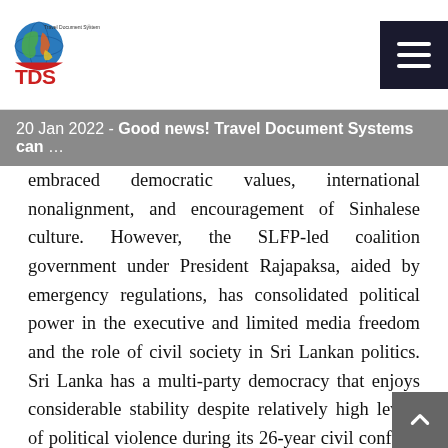[Figure (logo): Travel Document Systems (TDS) logo with globe graphic]
20 Jan 2022 - Good news! Travel Document Systems can …
embraced democratic values, international nonalignment, and encouragement of Sinhalese culture. However, the SLFP-led coalition government under President Rajapaksa, aided by emergency regulations, has consolidated political power in the executive and limited media freedom and the role of civil society in Sri Lankan politics. Sri Lanka has a multi-party democracy that enjoys considerable stability despite relatively high levels of political violence during its 26-year civil conflict. In May 2009, the government declared victory over the LTTE and the LTTE's longtime leader, Velupillai Prabhakaran, was killed. The LTTE's terrorist activities had generally been aimed at destabilizing Sri Lanka politically, economically, and socially. Economic targets included the airport in July 2001, the Colombo World Trade Center in October 1997, and the central bank in January 1996. In January 1998, the LTTE detonated a truck bomb in Kandy,